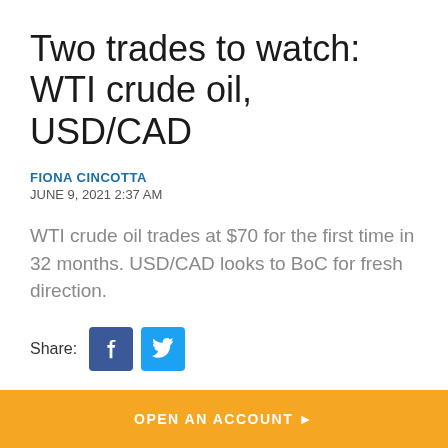Two trades to watch: WTI crude oil, USD/CAD
FIONA CINCOTTA
JUNE 9, 2021 2:37 AM
WTI crude oil trades at $70 for the first time in 32 months. USD/CAD looks to BoC for fresh direction.
Share:
OPEN AN ACCOUNT ▶